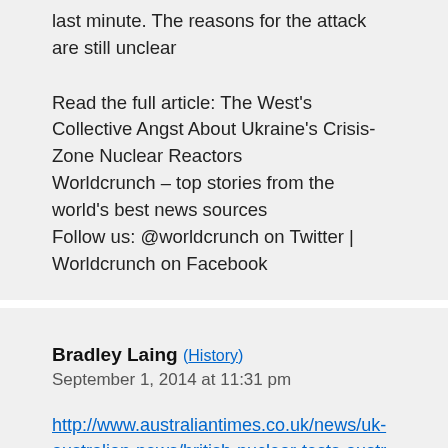last minute. The reasons for the attack are still unclear
Read the full article: The West's Collective Angst About Ukraine's Crisis-Zone Nuclear Reactors
Worldcrunch – top stories from the world's best news sources
Follow us: @worldcrunch on Twitter | Worldcrunch on Facebook
Bradley Laing (History)
September 1, 2014 at 11:31 pm
http://www.australiantimes.co.uk/news/uk-australian-news/british-nuclear-tests-australia-maralinga-radiation-